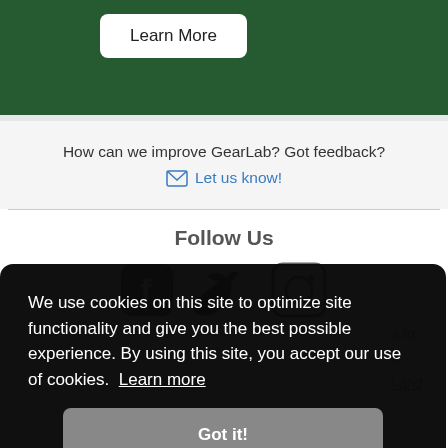[Figure (other): Green banner with a 'Learn More' white button]
How can we improve GearLab? Got feedback?
✉ Let us know!
Follow Us
[Figure (other): Social media icons: Facebook, Twitter, Instagram]
We use cookies on this site to optimize site functionality and give you the best possible experience. By using this site, you accept our use of cookies. Learn more
Got it!